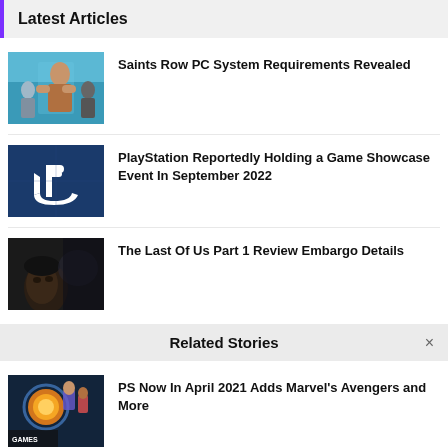Latest Articles
Saints Row PC System Requirements Revealed
PlayStation Reportedly Holding a Game Showcase Event In September 2022
The Last Of Us Part 1 Review Embargo Details
Related Stories
PS Now In April 2021 Adds Marvel's Avengers and More